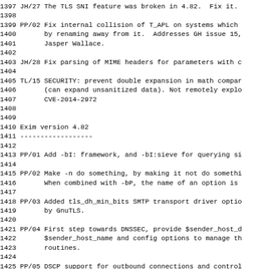1397 JH/27 The TLS SNI feature was broken in 4.82.  Fix it.
1398
1399 PP/02 Fix internal collision of T_APL on systems which
1400       by renaming away from it.  Addresses GH issue 15,
1401       Jasper Wallace.
1402
1403 JH/28 Fix parsing of MIME headers for parameters with c
1404
1405 TL/15 SECURITY: prevent double expansion in math compar
1406       (can expand unsanitized data). Not remotely explo
1407       CVE-2014-2972
1408
1409
1410 Exim version 4.82
1411 ------------------
1412
1413 PP/01 Add -bI: framework, and -bI:sieve for querying si
1414
1415 PP/02 Make -n do something, by making it not do somethi
1416       When combined with -bP, the name of an option is
1417
1418 PP/03 Added tls_dh_min_bits SMTP transport driver optio
1419       by GnuTLS.
1420
1421 PP/04 First step towards DNSSEC, provide $sender_host_d
1422       $sender_host_name and config options to manage th
1423       routines.
1424
1425 PP/05 DSCP support for outbound connections and control
1426
1427 PP/06 Cyrus SASL: set local and remote IP;port properti
1428       (Only plugin which currently uses this is kerbero
1429